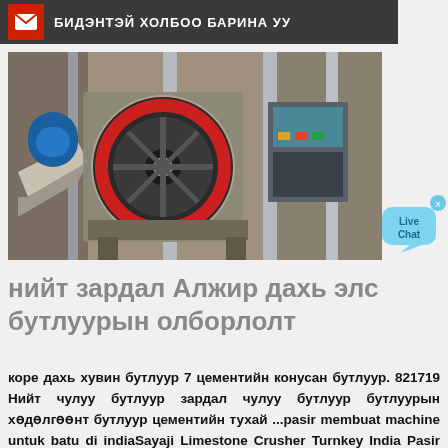БИДЭНТЭЙ ХОЛБОО БАРИНА УУ
[Figure (photo): Industrial stone crusher machine photographed in a warehouse or factory setting, showing heavy machinery with a large red circular flywheel and metal structural columns.]
[Figure (other): Live Chat speech bubble widget in light blue color with an X close button.]
нийт зардал Алжир дахь элс бутлуурын олборлолт
коре дахь хувин бутлуур 7 цементийн конусан бутлуур. 821719 Нийт чулуу бутлуур зардал чулуу бутлуур бутлуурын хөдөлгөөнт бутлуур цементийн тухай ...pasir membuat machine untuk batu di indiaSayaji Limestone Crusher Turnkey India Pasir Membuat Batu Crusher Mt. Yr. Penambangan Batu